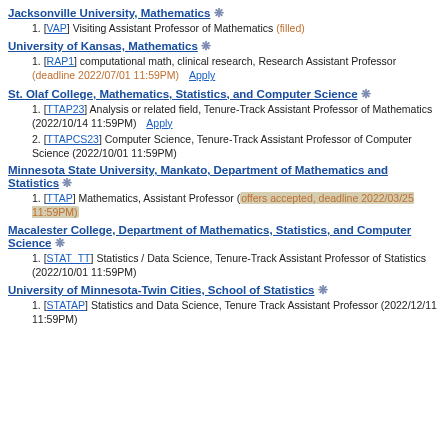Jacksonville University, Mathematics ❋
[VAP] Visiting Assistant Professor of Mathematics (filled)
University of Kansas, Mathematics ❋
[RAP1] computational math, clinical research, Research Assistant Professor (deadline 2022/07/01 11:59PM)  Apply
St. Olaf College, Mathematics, Statistics, and Computer Science ❋
[TTAP23] Analysis or related field, Tenure-Track Assistant Professor of Mathematics (2022/10/14 11:59PM)  Apply
[TTAPCS23] Computer Science, Tenure-Track Assistant Professor of Computer Science (2022/10/01 11:59PM)
Minnesota State University, Mankato, Department of Mathematics and Statistics ❋
[TTAP] Mathematics, Assistant Professor (offers accepted, deadline 2022/03/25 11:59PM)
Macalester College, Department of Mathematics, Statistics, and Computer Science ❋
[STAT_TT] Statistics / Data Science, Tenure-Track Assistant Professor of Statistics (2022/10/01 11:59PM)
University of Minnesota-Twin Cities, School of Statistics ❋
[STATAP] Statistics and Data Science, Tenure Track Assistant Professor (2022/12/11 11:59PM)